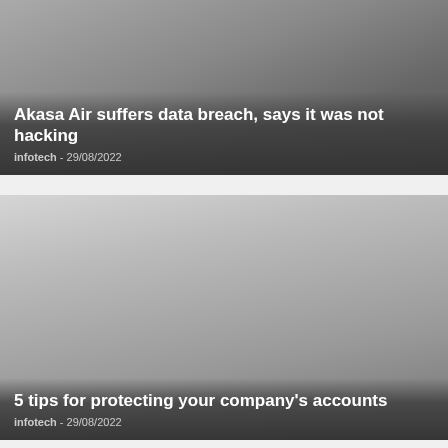[Figure (photo): Dark gray gradient image background for first article card]
Akasa Air suffers data breach, says it was not hacking
infotech - 29/08/2022
[Figure (photo): Light to dark gray gradient image background for second article card]
5 tips for protecting your company's accounts
infotech - 29/08/2022